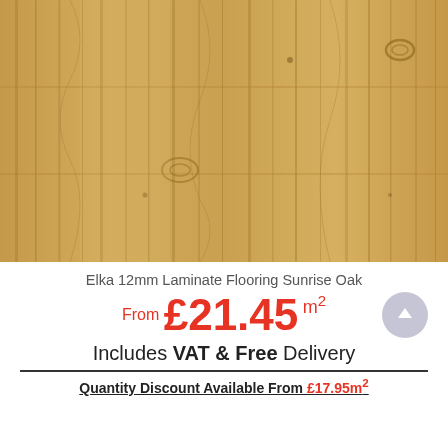[Figure (photo): Close-up photo of Elka 12mm Laminate Flooring Sunrise Oak wood grain texture, warm golden/tan tones with natural oak grain patterns]
Elka 12mm Laminate Flooring Sunrise Oak
From £21.45 m²
Includes VAT & Free Delivery
Quantity Discount Available From £17.95m²